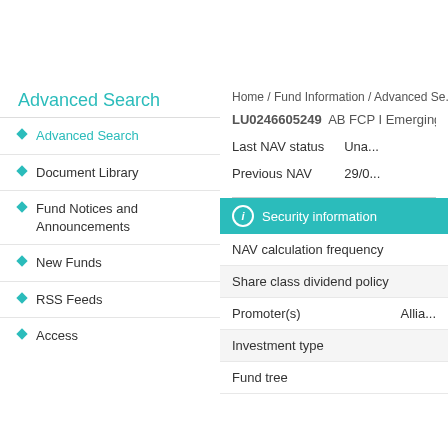Advanced Search
Advanced Search
Document Library
Fund Notices and Announcements
New Funds
RSS Feeds
Access
Home / Fund Information / Advanced Se...
LU0246605249  AB FCP I Emerging Ma...
|  |  |
| --- | --- |
| Last NAV status | Una... |
| Previous NAV | 29/0... |
Security information
|  |  |
| --- | --- |
| NAV calculation frequency |  |
| Share class dividend policy |  |
| Promoter(s) | Allia... |
| Investment type |  |
| Fund tree |  |